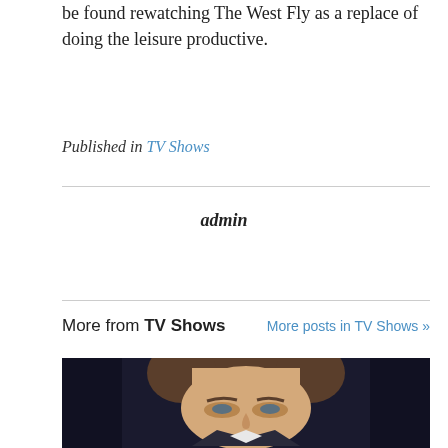be found rewatching The West Fly as a replace of doing the leisure productive.
Published in TV Shows
admin
More from TV Shows    More posts in TV Shows »
[Figure (photo): Close-up photo of a man's face, looking slightly downward, wearing a suit. Dark background suggesting he is in a car.]